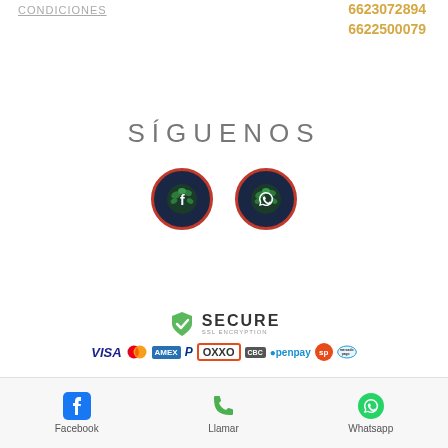CONDICIONES
6623072894
6622500079
SÍGUENOS
[Figure (illustration): Two circular social media icons with dark navy background and red border: Facebook (f logo) and WhatsApp (phone logo), both with green leaf/hop design overlay]
[Figure (logo): Secure SSL Encryption badge with green shield/lock icon, followed by payment method logos: VISA, Mastercard, American Express, PayPal, OXXO, CBC, Openpay, SP, Mercado Pago]
La Ámbar – Insumos Cerveceros y Productos Orgánicos
Todos los derechos reservados ©
Facebook   Llamar   Whatsapp